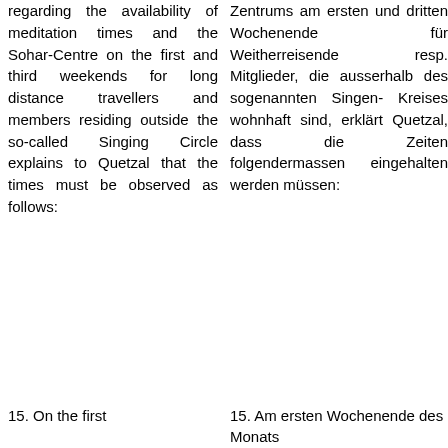regarding the availability of meditation times and the Sohar-Centre on the first and third weekends for long distance travellers and members residing outside the so-called Singing Circle explains to Quetzal that the times must be observed as follows:
Zentrums am ersten und dritten Wochenende für Weitherreisende resp. Mitglieder, die ausserhalb des sogenannten Singen- Kreises wohnhaft sind, erklärt Quetzal, dass die Zeiten folgendermassen eingehalten werden müssen:
15. On the first
15. Am ersten Wochenende des Monats